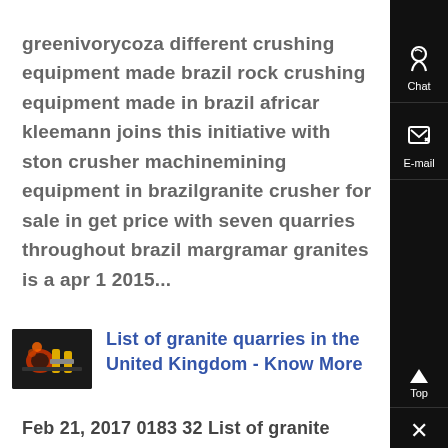greenivorycoza different crushing equipment made brazil rock crushing equipment made in brazil africar kleemann joins this initiative with ston crusher machinemining equipment in brazilgranite crusher for sale in get price with seven quarries throughout brazil margramar granites is a apr 1 2015...
[Figure (photo): Thumbnail image of industrial crushing/grinding equipment machinery]
List of granite quarries in the United Kingdom - Know More
Feb 21, 2017 0183 32 List of granite quarries in the United Kingdom Use the tools below to search for mines, quarries sit You can combine all inputs